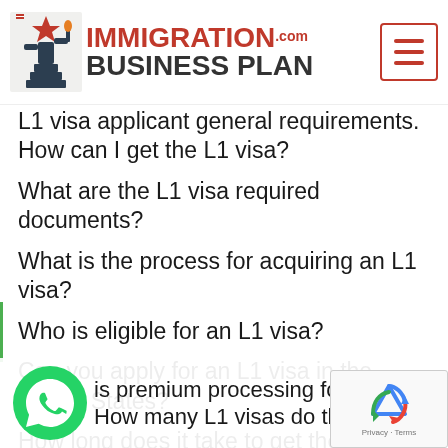[Figure (logo): ImmigrationBusinessPlan.com logo with Statue of Liberty icon, red and dark text]
L1 visa applicant general requirements. How can I get the L1 visa?
What are the L1 visa required documents?
What is the process for acquiring an L1 visa?
Who is eligible for an L1 visa?
Can you apply for an L1 visa in the United States?
How long does it take to get the L1 visa approved?
How much does the L1 visa cost?
L1 visa interview tips
is premium processing for the L1 vi...
How many L1 visas do they issue each yea...